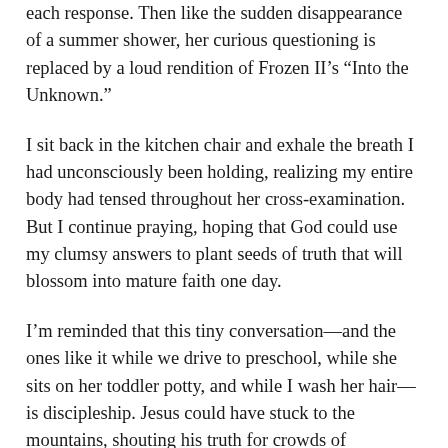each response. Then like the sudden disappearance of a summer shower, her curious questioning is replaced by a loud rendition of Frozen II’s “Into the Unknown.”
I sit back in the kitchen chair and exhale the breath I had unconsciously been holding, realizing my entire body had tensed throughout her cross-examination. But I continue praying, hoping that God could use my clumsy answers to plant seeds of truth that will blossom into mature faith one day.
I’m reminded that this tiny conversation—and the ones like it while we drive to preschool, while she sits on her toddler potty, and while I wash her hair—is discipleship. Jesus could have stuck to the mountains, shouting his truth for crowds of thousands. He could have remained in the temples speaking to the religious elite. He even could have sought an audience with political leaders. But instead, he spent most